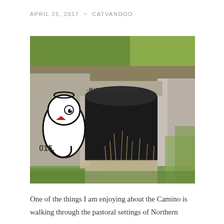APRIL 25, 2017  ~  CATVANDOO
[Figure (photo): Outdoor photo of a concrete tunnel/culvert entrance with green grass on top and weeds in front. On the concrete wall to the left of the tunnel entrance, there is graffiti of a cartoon bird (white, round body with a red beak and a halo) and below the tunnel opening lintel 'BIEN CAMINO!!!' is written in graffiti letters.]
One of the things I am enjoying about the Camino is walking through the pastoral settings of Northern